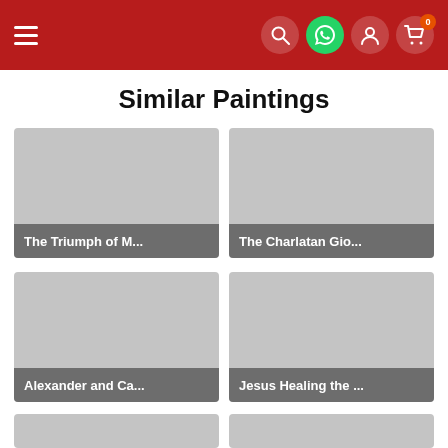Similar Paintings - navigation header with hamburger menu and icons
Similar Paintings
[Figure (photo): Gray placeholder image for painting titled 'The Triumph of M...']
[Figure (photo): Gray placeholder image for painting titled 'The Charlatan Gio...']
[Figure (photo): Gray placeholder image for painting titled 'Alexander and Ca...']
[Figure (photo): Gray placeholder image for painting titled 'Jesus Healing the ...']
[Figure (photo): Gray placeholder image (partial, bottom row left)]
[Figure (photo): Gray placeholder image (partial, bottom row right)]